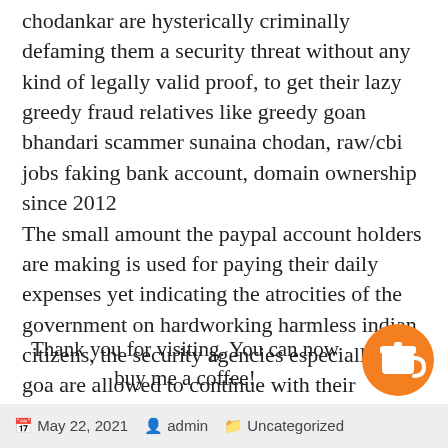chodankar are hysterically criminally defaming them a security threat without any kind of legally valid proof, to get their lazy greedy fraud relatives like greedy goan bhandari scammer sunaina chodan, raw/cbi jobs faking bank account, domain ownership since 2012
The small amount the paypal account holders are making is used for paying their daily expenses yet indicating the atrocities of the government on hardworking harmless indian citizens, the security agencies especially in goa are allowed to continue with their FINANCIAL FRAUD, human rights abuses on harmless paypal account holders, the government have the humanity and honesty to end the atro
Thank you for visiting. You can now buy me a coffee!
[Figure (illustration): Orange circular button with a coffee cup icon (buy me a coffee widget)]
May 22, 2021   admin   Uncategorized